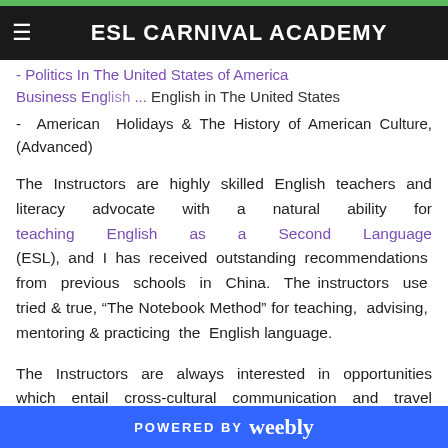ESL CARNIVAL ACADEMY
- Politics In The United States of America Business English ... English in The United States
- American Holidays & The History of American Culture, (Advanced)
The Instructors are highly skilled English teachers and literacy advocate with a natural ability for teaching English as a Second Language (ESL), and I has received outstanding recommendations from previous schools in China. The instructors use tried & true, “The Notebook Method” for teaching, advising, mentoring & practicing the English language.
The Instructors are always interested in opportunities which entail cross-cultural communication and travel opportunities for youth, teen and adult literacy programs.
POWERED BY weebly